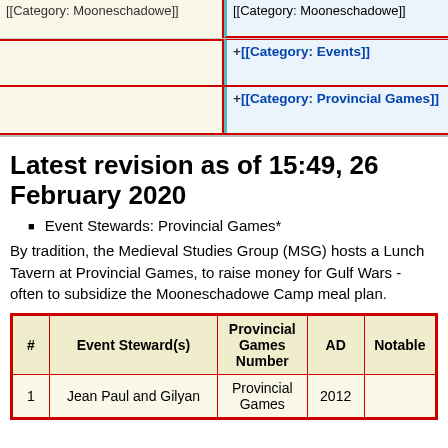|  |  |
| --- | --- |
| [[Category: Mooneschadowe]] | [[Category: Mooneschadowe]] |
|  | +[[Category: Events]] |
|  | +[[Category: Provincial Games]] |
Latest revision as of 15:49, 26 February 2020
Event Stewards: Provincial Games*
By tradition, the Medieval Studies Group (MSG) hosts a Lunch Tavern at Provincial Games, to raise money for Gulf Wars - often to subsidize the Mooneschadowe Camp meal plan.
| # | Event Steward(s) | Provincial Games Number | AD | Notable |
| --- | --- | --- | --- | --- |
| 1 | Jean Paul and Gilyan | Provincial Games | 2012 |  |